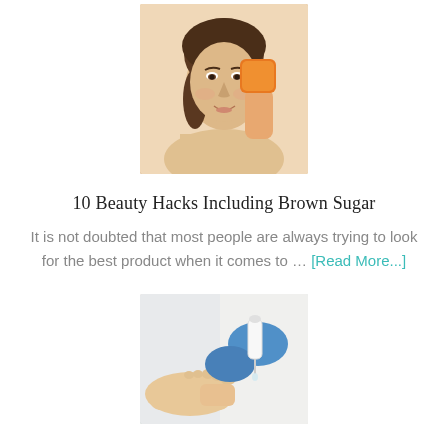[Figure (photo): Woman smiling, holding an orange wax or sugar product near her face, bare shoulders, brown hair in ponytail]
10 Beauty Hacks Including Brown Sugar
It is not doubted that most people are always trying to look for the best product when it comes to … [Read More...]
[Figure (photo): Hands in blue medical gloves applying treatment to a person's feet/toenails with a dropper bottle]